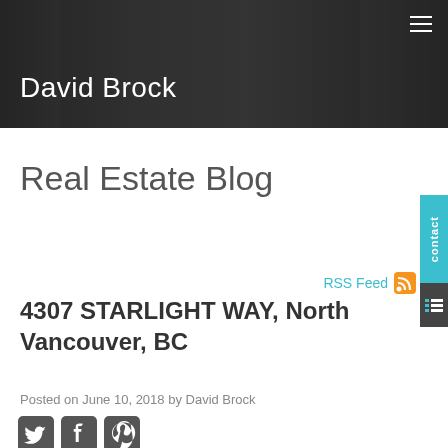David Brock
Real Estate Blog
RSS Feed
4307 STARLIGHT WAY, North Vancouver, BC
Posted on June 10, 2018 by David Brock